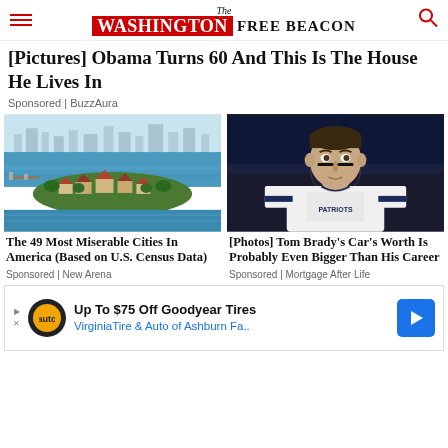The Washington Free Beacon
[Pictures] Obama Turns 60 And This Is The House He Lives In
Sponsored | BuzzAura
[Figure (photo): Aerial view of waterfront homes and marina with city skyline in background]
[Figure (photo): Tom Brady in New England Patriots uniform]
The 49 Most Miserable Cities In America (Based on U.S. Census Data)
Sponsored | New Arena
[Photos] Tom Brady's Car's Worth Is Probably Even Bigger Than His Career
Sponsored | Mortgage After Life
Up To $75 Off Goodyear Tires
VirginiaTire & Auto of Ashburn Fa..